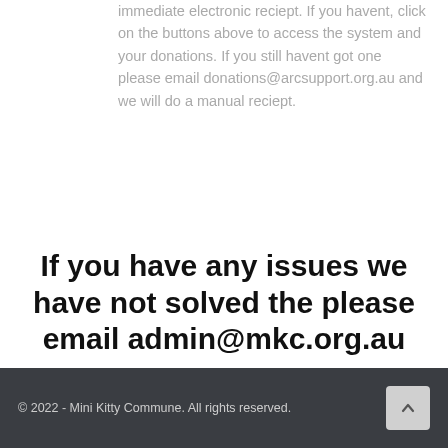immediate electronic reciept. If you havent, click on the buttons above to access the system and your donations. If you still havent got one please email donations@arcsupport.org.au and we will do a manual reciept.
If you have any issues we have not solved the please email admin@mkc.org.au
© 2022 - Mini Kitty Commune. All rights reserved.